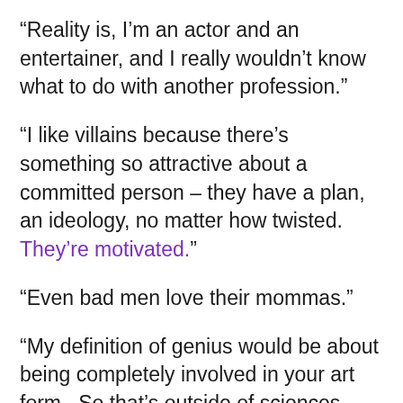“Reality is, I’m an actor and an entertainer, and I really wouldn’t know what to do with another profession.”
“I like villains because there’s something so attractive about a committed person – they have a plan, an ideology, no matter how twisted.  They’re motivated.”
“Even bad men love their mommas.”
“My definition of genius would be about being completely involved in your art form.  So that’s outside of sciences.  Within the arts it’s about taking people on a journey, being